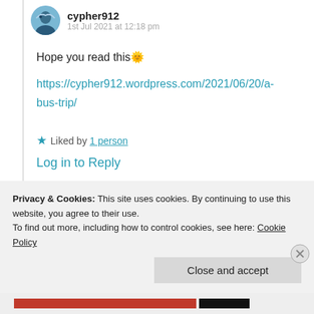cypher912
1st Jul 2021 at 12:18 pm
Hope you read this 🙂
https://cypher912.wordpress.com/2021/06/20/a-bus-trip/
★ Liked by 1 person
Log in to Reply
Privacy & Cookies: This site uses cookies. By continuing to use this website, you agree to their use.
To find out more, including how to control cookies, see here: Cookie Policy
Close and accept